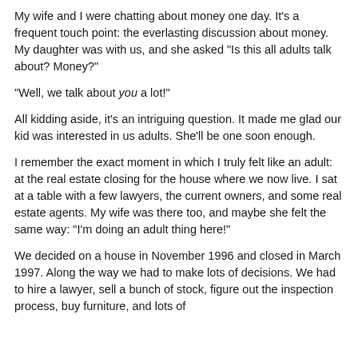My wife and I were chatting about money one day. It's a frequent touch point: the everlasting discussion about money. My daughter was with us, and she asked "Is this all adults talk about? Money?"
"Well, we talk about you a lot!"
All kidding aside, it's an intriguing question. It made me glad our kid was interested in us adults. She'll be one soon enough.
I remember the exact moment in which I truly felt like an adult: at the real estate closing for the house where we now live. I sat at a table with a few lawyers, the current owners, and some real estate agents. My wife was there too, and maybe she felt the same way: "I'm doing an adult thing here!"
We decided on a house in November 1996 and closed in March 1997. Along the way we had to make lots of decisions. We had to hire a lawyer, sell a bunch of stock, figure out the inspection process, buy furniture, and lots of